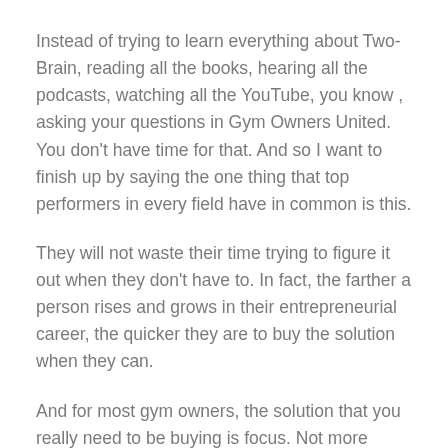Instead of trying to learn everything about Two-Brain, reading all the books, hearing all the podcasts, watching all the YouTube, you know , asking your questions in Gym Owners United. You don't have time for that. And so I want to finish up by saying the one thing that top performers in every field have in common is this.
They will not waste their time trying to figure it out when they don't have to. In fact, the farther a person rises and grows in their entrepreneurial career, the quicker they are to buy the solution when they can.
And for most gym owners, the solution that you really need to be buying is focus. Not more knowledge. Hope that helps.